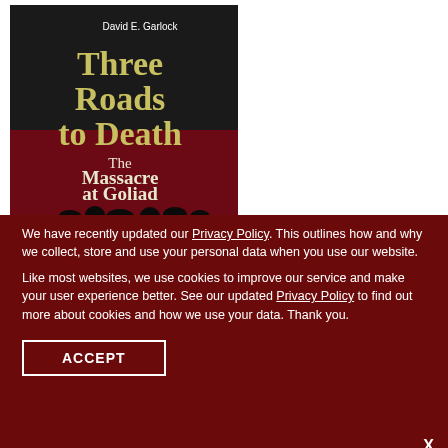[Figure (illustration): Book cover for 'Three Roads to Death: The Massacre at Goliad' by David E. Garlock. Dark background with large olive/yellow serif title text and a dark red/crimson lower section with subtitle text. Silhouetted figures at the bottom.]
X
We have recently updated our Privacy Policy. This outlines how and why we collect, store and use your personal data when you use our website.
Like most websites, we use cookies to improve our service and make your user experience better. See our updated Privacy Policy to find out more about cookies and how we use your data. Thank you.
ACCEPT